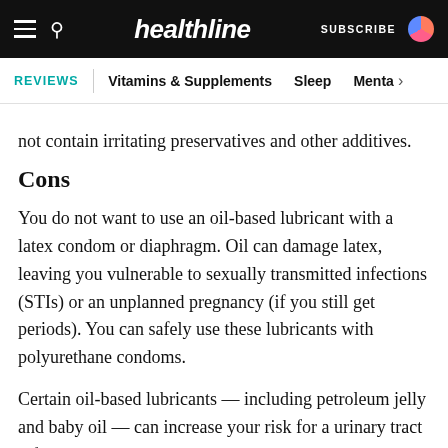healthline — SUBSCRIBE
REVIEWS | Vitamins & Supplements  Sleep  Menta >
not contain irritating preservatives and other additives.
Cons
You do not want to use an oil-based lubricant with a latex condom or diaphragm. Oil can damage latex, leaving you vulnerable to sexually transmitted infections (STIs) or an unplanned pregnancy (if you still get periods). You can safely use these lubricants with polyurethane condoms.
Certain oil-based lubricants — including petroleum jelly and baby oil — can increase your risk for a urinary tract infection. The oil also stains sheets, underwear,